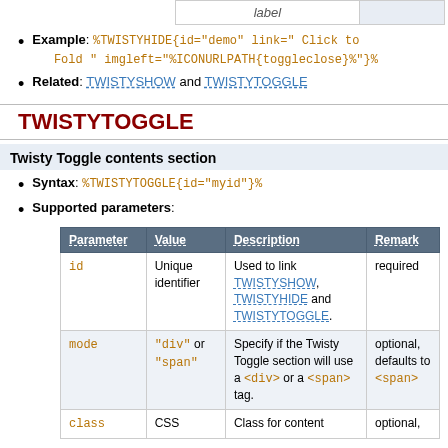|  | label |  |  |
| --- | --- | --- | --- |
|  |
Example: %TWISTYHIDE{id="demo" link=" Click to Fold " imgleft="%ICONURLPATH{toggleclose}%"}%
Related: TWISTYSHOW and TWISTYTOGGLE
TWISTYTOGGLE
Twisty Toggle contents section
Syntax: %TWISTYTOGGLE{id="myid"}%
Supported parameters:
| Parameter | Value | Description | Remark |
| --- | --- | --- | --- |
| id | Unique identifier | Used to link TWISTYSHOW, TWISTYHIDE and TWISTYTOGGLE. | required |
| mode | "div" or "span" | Specify if the Twisty Toggle section will use a <div> or a <span> tag. | optional, defaults to <span> |
| class | CSS | Class for content | optional, |